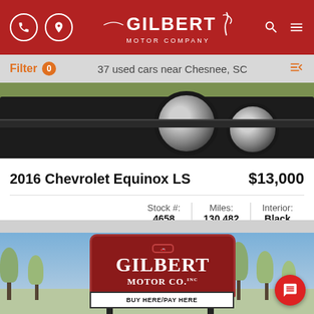Gilbert Motor Company
Filter 0  37 used cars near Chesnee, SC
[Figure (photo): Partial view of the underside and wheels of a dark SUV (2016 Chevrolet Equinox) parked on pavement with grass in background]
2016 Chevrolet Equinox LS
$13,000
| Stock #: | Miles: | Interior: |
| --- | --- | --- |
| 4658 | 130,482 | Black |
[Figure (photo): Gilbert Motor Co. Inc. dealership sign reading GILBERT MOTOR CO. Inc. BUY HERE/PAY HERE with trees in background]